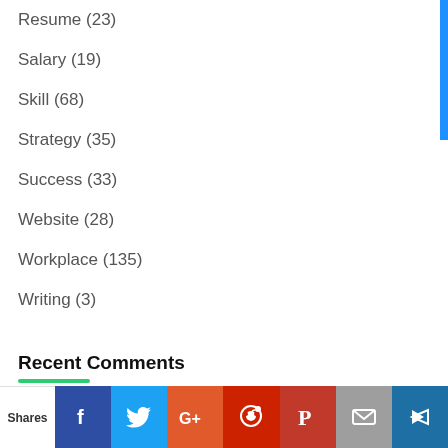Resume (23)
Salary (19)
Skill (68)
Strategy (35)
Success (33)
Website (28)
Workplace (135)
Writing (3)
Recent Comments
Michelle Begley on 19 Tips to Enhance Skills Based